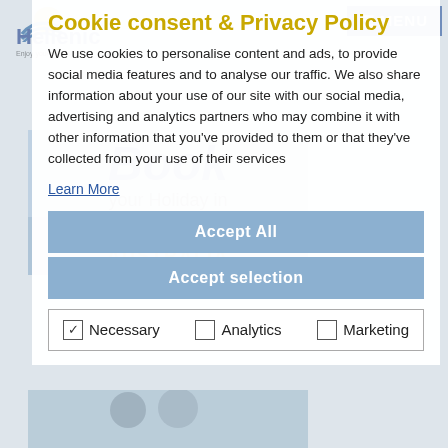Cookie consent & Privacy Policy
We use cookies to personalise content and ads, to provide social media features and to analyse our traffic. We also share information about your use of our site with our social media, advertising and analytics partners who may combine it with other information that you've provided to them or that they've collected from your use of their services
Learn More
Accept All
Accept selection
Necessary   Analytics   Marketing